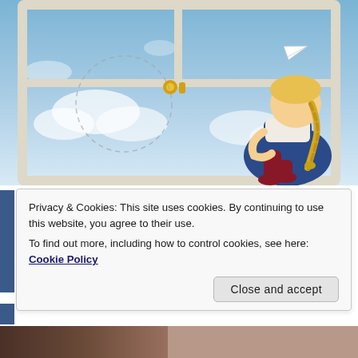[Figure (illustration): Anime-style illustration of a blonde girl with a braid sitting hugging her knees on a windowsill, looking out through white-framed French doors at a cloudy blue sky. A paper airplane flies outside. A dashed circular path is drawn on the left glass pane.]
Privacy & Cookies: This site uses cookies. By continuing to use this website, you agree to their use.
To find out more, including how to control cookies, see here: Cookie Policy
Close and accept